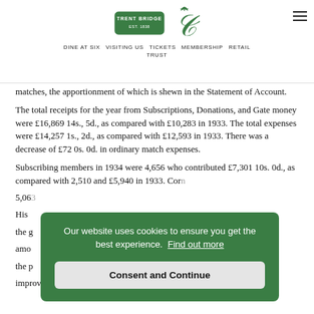TRENT BRIDGE | DINE AT SIX  VISITING US  TICKETS  MEMBERSHIP  RETAIL  TRUST
matches, the apportionment of which is shewn in the Statement of Account. The total receipts for the year from Subscriptions, Donations, and Gate money were £16,869 14s., 5d., as compared with £10,283 in 1933. The total expenses were £14,257 1s., 2d., as compared with £12,593 in 1933. There was a decrease of £72 0s. 0d. in ordinary match expenses.
Subscribing members in 1934 were 4,656 who contributed £7,301 10s. 0d., as compared with 2,510 and £5,940 in 1933. Cor[...] 5,06[...]
His [...] the [...] amo[...] the [...] improvements.
Our website uses cookies to ensure you get the best experience. Find out more
Consent and Continue